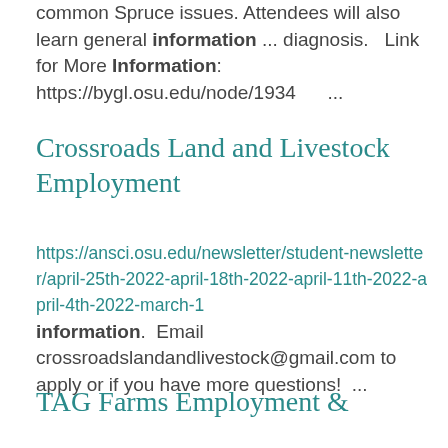common Spruce issues. Attendees will also learn general information ... diagnosis.  Link for More Information: https://bygl.osu.edu/node/1934 ...
Crossroads Land and Livestock Employment
https://ansci.osu.edu/newsletter/student-newsletter/april-25th-2022-april-18th-2022-april-11th-2022-april-4th-2022-march-1 information.  Email crossroadslandandlivestock@gmail.com to apply or if you have more questions!  ...
TAG Farms Employment & Internship